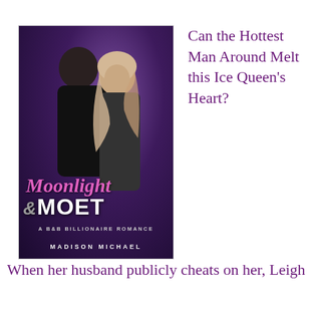[Figure (illustration): Book cover for 'Moonlight & Moet: A B&B Billionaire Romance' by Madison Michael. Dark purple background with a couple embracing. Title in pink cursive script and white bold text. Author name at the bottom.]
Can the Hottest Man Around Melt this Ice Queen's Heart?
When her husband publicly cheats on her, Leigh